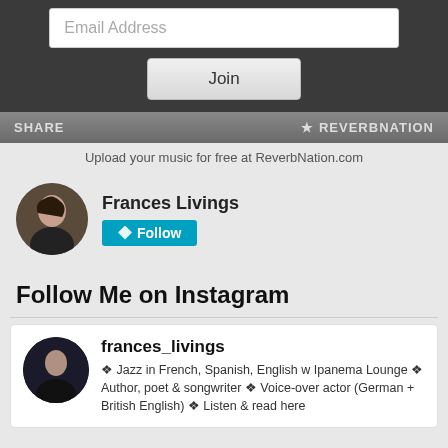[Figure (screenshot): Email address input field with placeholder text 'Email Address' on dark background widget]
[Figure (screenshot): Join button on dark background widget]
SHARE   ★ REVERBNATION
Upload your music for free at ReverbNation.com
Frances Livings
Follow
Follow Me on Instagram
frances_livings
❖ Jazz in French, Spanish, English w Ipanema Lounge ❖ Author, poet & songwriter ❖ Voice-over actor (German + British English) ❖ Listen & read here